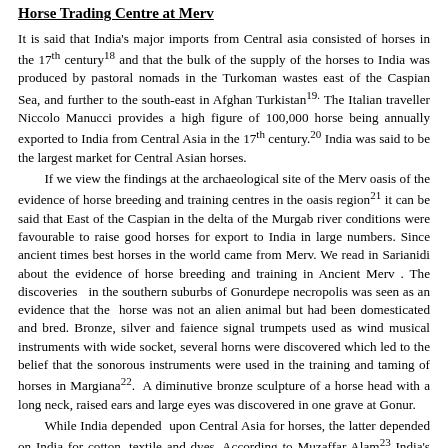Horse Trading Centre at Merv
It is said that India's major imports from Central asia consisted of horses in the 17th century18 and that the bulk of the supply of the horses to India was produced by pastoral nomads in the Turkoman wastes east of the Caspian Sea, and further to the south-east in Afghan Turkistan19. The Italian traveller Niccolo Manucci provides a high figure of 100,000 horse being annually exported to India from Central Asia in the 17th century.20 India was said to be the largest market for Central Asian horses.
If we view the findings at the archaeological site of the Merv oasis of the evidence of horse breeding and training centres in the oasis region21 it can be said that East of the Caspian in the delta of the Murgab river conditions were favourable to raise good horses for export to India in large numbers. Since ancient times best horses in the world came from Merv. We read in Sarianidi about the evidence of horse breeding and training in Ancient Merv . The discoveries in the southern suburbs of Gonurdepe necropolis was seen as an evidence that the horse was not an alien animal but had been domesticated and bred. Bronze, silver and faience signal trumpets used as wind musical instruments with wide socket, several horns were discovered which led to the belief that the sonorous instruments were used in the training and taming of horses in Margiana22. A diminutive bronze sculpture of a horse head with a long neck, raised ears and large eyes was discovered in one grave at Gonur.
While India depended upon Central Asia for horses, the latter depended on India for cotton, textile and dyes. According to Muzaffar Alam23 India's textile production was such that by the 17th century India had begun to manufacture enough textiles to clothe nearly the whole of Central Asia as well as Iran. Many north-western Indian towns, including Lahore, Bajwara, Muchhiwara and Sialkot had reached specialization in textile production.
We read in Mansura Haider's Indo-Central Asian Relations24 that the trade